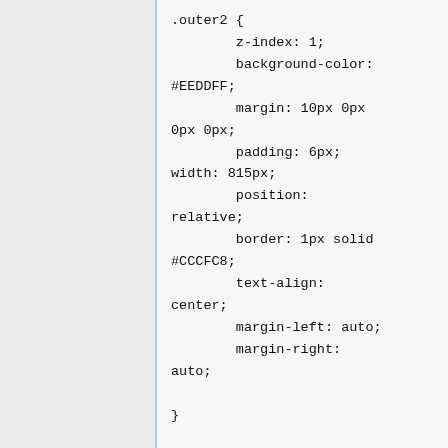.outer2 {
        z-index: 1;
        background-color: #EEDDFF;
        margin: 10px 0px 0px 0px;
        padding: 6px;
        width: 815px;
        position: relative;
        border: 1px solid #CCCFC8;
        text-align: center;
        margin-left: auto;
        margin-right: auto;

}

.outer3 {
        background-color: #EEDDFF;
        margin: 0px 0px 10px 0px;